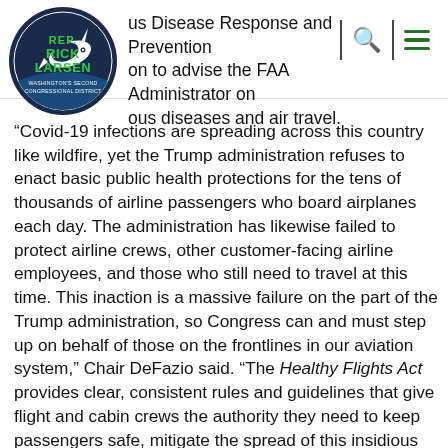[Figure (logo): Rep. Rick Larsen, Washington's Second Congressional District logo — circular dark navy background with orca whale graphic, green text reading REP. RICK LARSEN]
us Disease Response and Prevention on to advise the FAA Administrator on ous diseases and air travel.
“Covid-19 infections are spreading across this country like wildfire, yet the Trump administration refuses to enact basic public health protections for the tens of thousands of airline passengers who board airplanes each day. The administration has likewise failed to protect airline crews, other customer-facing airline employees, and those who still need to travel at this time. This inaction is a massive failure on the part of the Trump administration, so Congress can and must step up on behalf of those on the frontlines in our aviation system,” Chair DeFazio said. “The Healthy Flights Act provides clear, consistent rules and guidelines that give flight and cabin crews the authority they need to keep passengers safe, mitigate the spread of this insidious disease, and help our country prepare for future pandemics.”